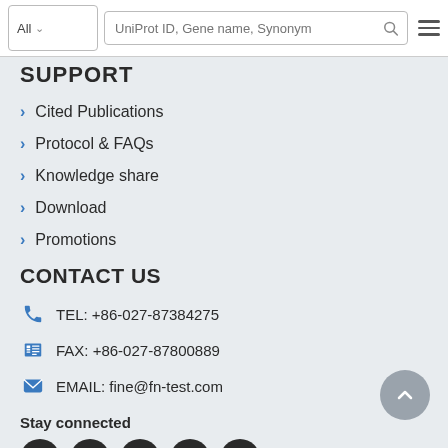[Figure (screenshot): Website search bar with 'All' dropdown, 'UniProt ID, Gene name, Synonym' placeholder input, search icon, and hamburger menu icon]
SUPPORT
Cited Publications
Protocol & FAQs
Knowledge share
Download
Promotions
CONTACT US
TEL: +86-027-87384275
FAX: +86-027-87800889
EMAIL: fine@fn-test.com
Stay connected